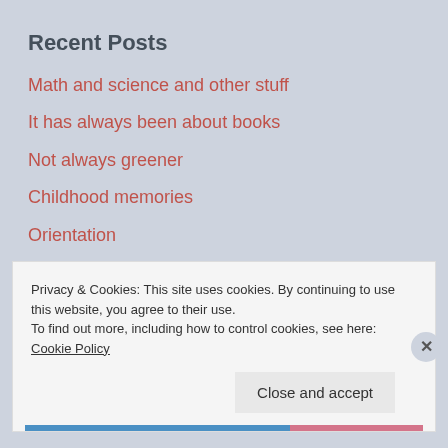Recent Posts
Math and science and other stuff
It has always been about books
Not always greener
Childhood memories
Orientation
Privacy & Cookies: This site uses cookies. By continuing to use this website, you agree to their use.
To find out more, including how to control cookies, see here: Cookie Policy
Close and accept